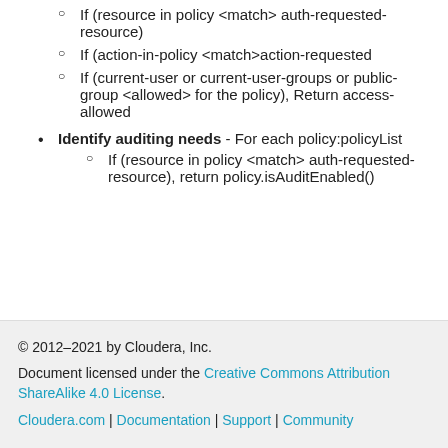If (resource in policy <match> auth-requested-resource)
If (action-in-policy <match>action-requested
If (current-user or current-user-groups or public-group <allowed> for the policy), Return access-allowed
Identify auditing needs - For each policy:policyList
If (resource in policy <match> auth-requested-resource), return policy.isAuditEnabled()
© 2012–2021 by Cloudera, Inc.
Document licensed under the Creative Commons Attribution ShareAlike 4.0 License.
Cloudera.com | Documentation | Support | Community